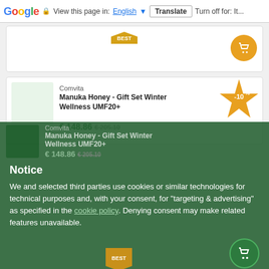[Figure (screenshot): Google Translate toolbar at top of page showing 'View this page in: English [dropdown] Translate | Turn off for: It...']
[Figure (screenshot): E-commerce product listing page (Comvita Manuka Honey store) partially visible behind a cookie consent overlay. Two product cards visible at top with BEST badges and cart buttons. A -10% star discount badge appears on the second card.]
Notice
We and selected third parties use cookies or similar technologies for technical purposes and, with your consent, for “targeting & advertising” as specified in the cookie policy. Denying consent may make related features unavailable.
Reject
Accept
Learn more and customise